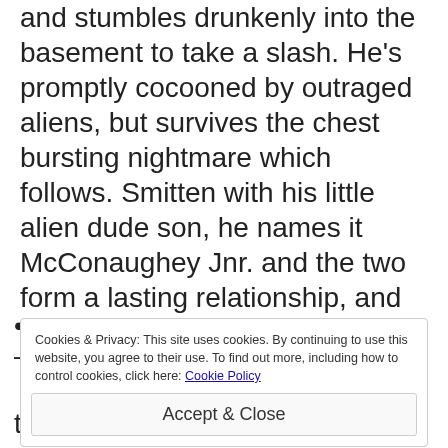and stumbles drunkenly into the basement to take a slash. He's promptly cocooned by outraged aliens, but survives the chest bursting nightmare which follows. Smitten with his little alien dude son, he names it McConaughey Jnr. and the two form a lasting relationship, and are soon often photographed in the tabloid press working out, smoking joints, and leering at women.
Cookies & Privacy: This site uses cookies. By continuing to use this website, you agree to their use. To find out more, including how to control cookies, click here: Cookie Policy
Accept & Close